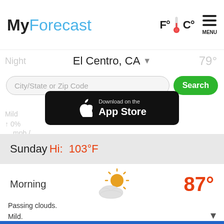MyForecast
El Centro, CA
[Figure (screenshot): Search bar with City/State or Zip Code placeholder and green Search button]
[Figure (screenshot): Download on the App Store button]
Sunday Hi: 103°F
Morning  87°
[Figure (illustration): Partly cloudy sun weather icon]
Passing clouds. Mild. 0% 6mph / NNW